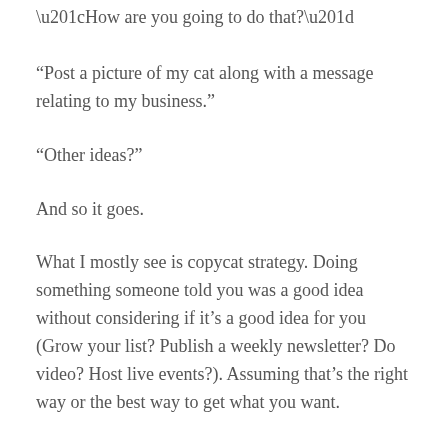“How are you going to do that?”
“Post a picture of my cat along with a message relating to my business.”
“Other ideas?”
And so it goes.
What I mostly see is copycat strategy. Doing something someone told you was a good idea without considering if it’s a good idea for you (Grow your list? Publish a weekly newsletter? Do video? Host live events?). Assuming that’s the right way or the best way to get what you want.